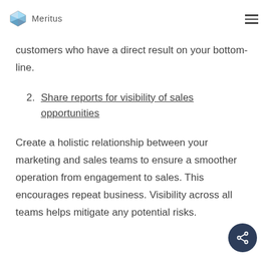Meritus
customers who have a direct result on your bottom-line.
2. Share reports for visibility of sales opportunities
Create a holistic relationship between your marketing and sales teams to ensure a smoother operation from engagement to sales. This encourages repeat business. Visibility across all teams helps mitigate any potential risks.